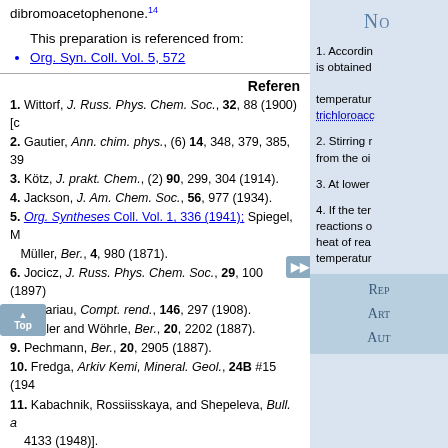dibromoacetophenone.14
This preparation is referenced from:
Org. Syn. Coll. Vol. 5, 572
References
1. Wittorf, J. Russ. Phys. Chem. Soc., 32, 88 (1900) [c
2. Gautier, Ann. chim. phys., (6) 14, 348, 379, 385, 39
3. Kötz, J. prakt. Chem., (2) 90, 299, 304 (1914).
4. Jackson, J. Am. Chem. Soc., 56, 977 (1934).
5. Org. Syntheses Coll. Vol. 1, 336 (1941); Spiegel, Müller, Ber., 4, 980 (1871).
6. Jocicz, J. Russ. Phys. Chem. Soc., 29, 100 (1897)
7. Savariau, Compt. rend., 146, 297 (1908).
8. Engler and Wöhrle, Ber., 20, 2202 (1887).
9. Pechmann, Ber., 20, 2905 (1887).
10. Fredga, Arkiv Kemi, Mineral. Geol., 24B #15 (194
11. Kabachnik, Rossiisskaya, and Shepeleva, Bull. a 4133 (1948)].
12. Kindler, Metzendorf, and Dschi-yin-Kwok, Ber., 76
13. Neville, J. Am. Chem. Soc., 70, 3499 (1948).
14. Doering, Taylor, and Schoenewaldt, J. Am. Chem.
A
Chemical Abstracts Nomen
(Regis
α-C14-Mandelic acid
No
1. According is obtained temperature trichloroacc
2. Stirring r from the oi
3. At lower
4. If the ter reactions c heat of rea temperatur
REP ART AUT